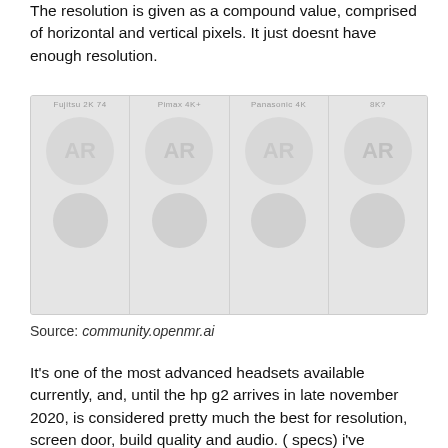The resolution is given as a compound value, comprised of horizontal and vertical pixels. It just doesnt have enough resolution.
[Figure (photo): A grid of four faded circular/avatar images with labels across the top, showing resolution comparison examples. The images appear low-resolution and washed out in gray tones.]
Source: community.openmr.ai
It's one of the most advanced headsets available currently, and, until the hp g2 arrives in late november 2020, is considered pretty much the best for resolution, screen door, build quality and audio. ( specs) i've